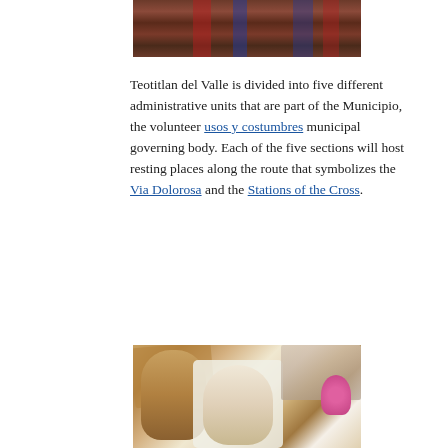[Figure (photo): Partial view of people in traditional/ceremonial dress, showing lower portions of their clothing in red and blue colors]
Teotitlan del Valle is divided into five different administrative units that are part of the Municipio, the volunteer usos y costumbres municipal governing body. Each of the five sections will host resting places along the route that symbolizes the Via Dolorosa and the Stations of the Cross.
[Figure (photo): Close-up photograph of participants in a religious procession, showing an older man in traditional dress with a golden cloth and a younger person wearing a white head covering, with flowers visible and crowd in the background]